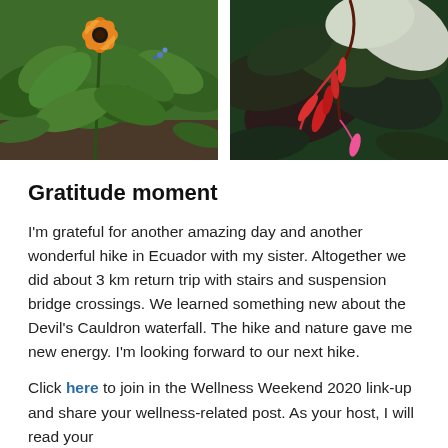[Figure (photo): Two garden/nature photos side by side: left photo shows a tropical garden with a large orange-yellow flower (hibiscus-like) and lush green leaves; right photo shows tropical foliage with deep red-pink drooping flowers and large dark leaves.]
Gratitude moment
I'm grateful for another amazing day and another wonderful hike in Ecuador with my sister. Altogether we did about 3 km return trip with stairs and suspension bridge crossings. We learned something new about the Devil's Cauldron waterfall. The hike and nature gave me new energy. I'm looking forward to our next hike.
Click here to join in the Wellness Weekend 2020 link-up and share your wellness-related post. As your host, I will read your